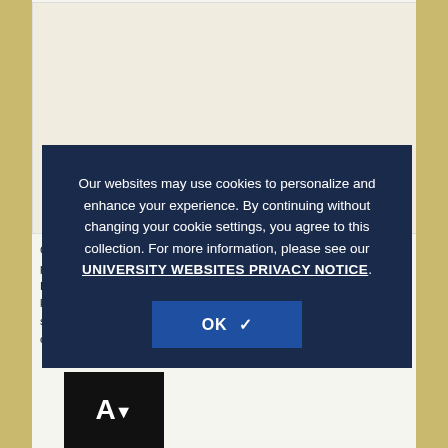[Figure (photo): Partially visible image in the upper portion of the page, appears to be a conference or event photo. Caption partially visible: 'COP22... Christen... O...']
Our websites may use cookies to personalize and enhance your experience. By continuing without changing your cookie settings, you agree to this collection. For more information, please see our UNIVERSITY WEBSITES PRIVACY NOTICE.
OK ✓
On our first night at the conference, all of the UConn students entered a panel of faculty from around the world, discussing the role of Higher Education in future environmentalism. Professors spoke in kind... about how important it that every college... ut sustainability. As... generation is the c... nt of the climate crisis, it is vital that we are all equipped with the knowledge of...